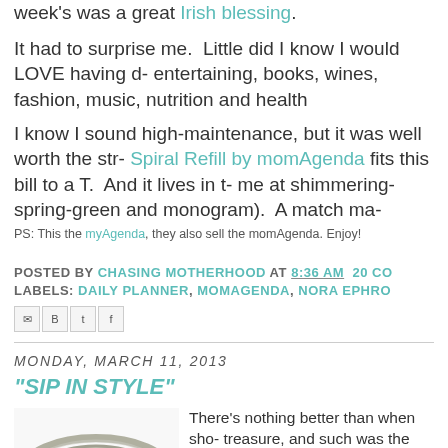week's was a great Irish blessing.
It had to surprise me.  Little did I know I would LOVE having d- entertaining, books, wines, fashion, music, nutrition and health
I know I sound high-maintenance, but it was well worth the str- Spiral Refill by momAgenda fits this bill to a T.  And it lives in t- me at shimmering-spring-green and monogram).  A match ma-
PS: This the myAgenda, they also sell the momAgenda. Enjoy!
POSTED BY CHASING MOTHERHOOD AT 8:36 AM  20 CO- LABELS: DAILY PLANNER, MOMAGENDA, NORA EPHRO-
MONDAY, MARCH 11, 2013
"SIP IN STYLE"
[Figure (photo): A mason jar lid/ring viewed from above, silver metallic, on white background]
There's nothing better than when sho- treasure, and such was the case on a- favorite twine.  The store is always cr- basket of